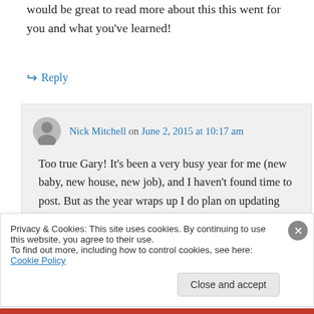would be great to read more about this this went for you and what you've learned!
↪ Reply
Nick Mitchell on June 2, 2015 at 10:17 am
Too true Gary! It's been a very busy year for me (new baby, new house, new job), and I haven't found time to post. But as the year wraps up I do plan on updating how
Privacy & Cookies: This site uses cookies. By continuing to use this website, you agree to their use.
To find out more, including how to control cookies, see here: Cookie Policy
Close and accept